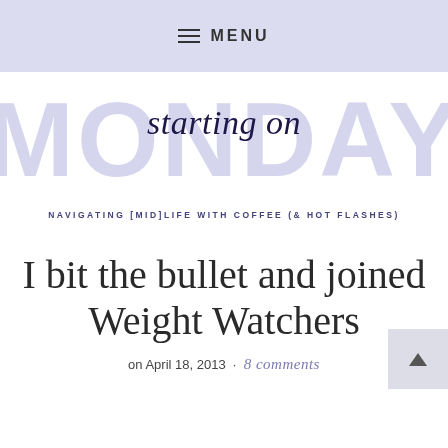MENU
[Figure (logo): Blog logo: 'starting on MONDAY' with script font overlay on large distressed block letters, tagline 'NAVIGATING [MID]LIFE WITH COFFEE (& HOT FLASHES)']
I bit the bullet and joined Weight Watchers
on April 18, 2013 · 8 comments